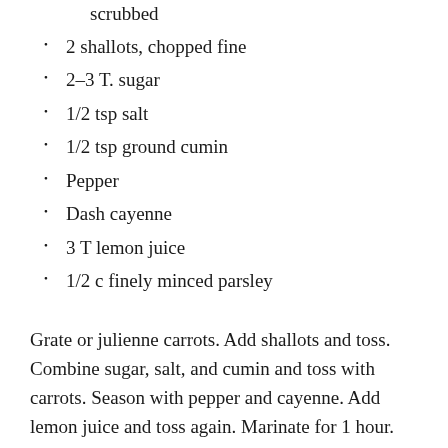scrubbed
2 shallots, chopped fine
2–3 T. sugar
1/2 tsp salt
1/2 tsp ground cumin
Pepper
Dash cayenne
3 T lemon juice
1/2 c finely minced parsley
Grate or julienne carrots. Add shallots and toss. Combine sugar, salt, and cumin and toss with carrots. Season with pepper and cayenne. Add lemon juice and toss again. Marinate for 1 hour. Sprinkle with parsley and serve at room temperature.